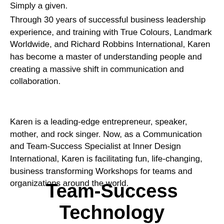Simply a given.
Through 30 years of successful business leadership experience, and training with True Colours, Landmark Worldwide, and Richard Robbins International, Karen has become a master of understanding people and creating a massive shift in communication and collaboration.
Karen is a leading-edge entrepreneur, speaker, mother, and rock singer. Now, as a Communication and Team-Success Specialist at Inner Design International, Karen is facilitating fun, life-changing, business transforming Workshops for teams and organizations around the world.
Team-Success Technology